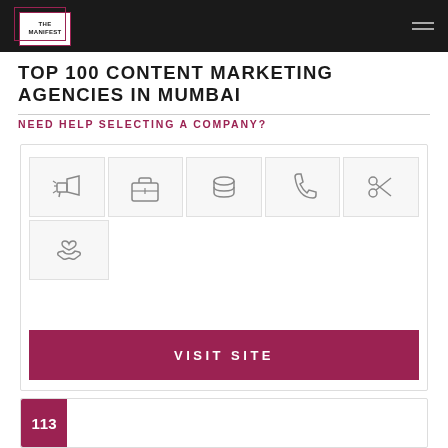THE MANIFEST
TOP 100 CONTENT MARKETING AGENCIES IN MUMBAI
NEED HELP SELECTING A COMPANY?
[Figure (infographic): Row of 5 icon boxes showing various service categories (megaphone, briefcase, coins, phone/hook, scissors/tools), plus one icon box below showing hands with heart]
VISIT SITE
113